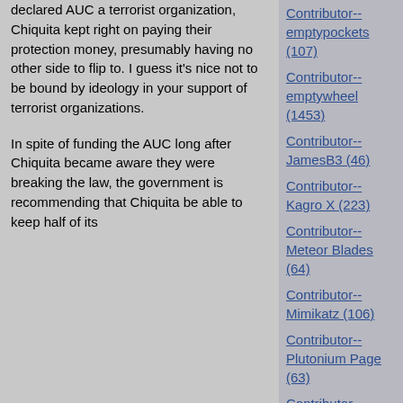declared AUC a terrorist organization, Chiquita kept right on paying their protection money, presumably having no other side to flip to. I guess it's nice not to be bound by ideology in your support of terrorist organizations.
In spite of funding the AUC long after Chiquita became aware they were breaking the law, the government is recommending that Chiquita be able to keep half of its
Contributor--emptypockets (107)
Contributor--emptywheel (1453)
Contributor--JamesB3 (46)
Contributor--Kagro X (223)
Contributor--Meteor Blades (64)
Contributor--Mimikatz (106)
Contributor--Plutonium Page (63)
Contributor--RonK, Seattle (29)
Contributor--Trapper John (27)
Culture (56)
Democrats (195)
Domestic Policy (159)
Economics (62)
Elections--2005 (9)
Elections--2006 (290)
Elections--Historical (30)
Energy Policy (36)
Environment (40)
Foreign Policy (216)